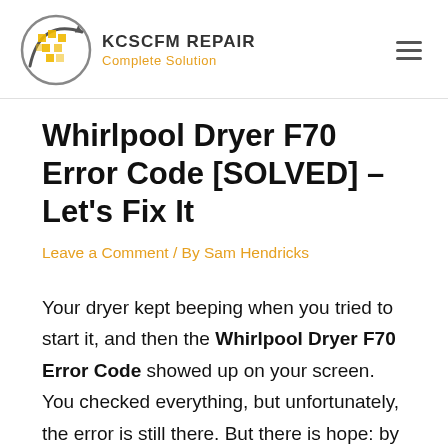KCSCFM REPAIR Complete Solution
Whirlpool Dryer F70 Error Code [SOLVED] – Let's Fix It
Leave a Comment / By Sam Hendricks
Your dryer kept beeping when you tried to start it, and then the Whirlpool Dryer F70 Error Code showed up on your screen. You checked everything, but unfortunately, the error is still there. But there is hope: by checking out these common reasons for why your dryer isn't working, you can diagnose and fix the